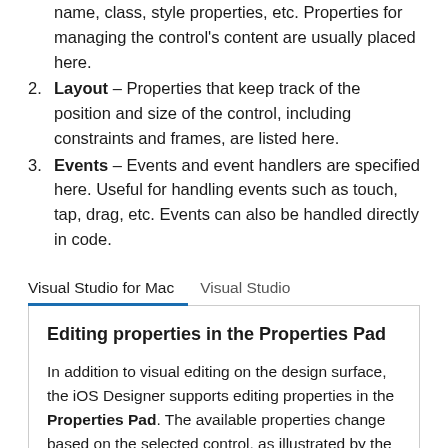name, class, style properties, etc. Properties for managing the control’s content are usually placed here.
Layout – Properties that keep track of the position and size of the control, including constraints and frames, are listed here.
Events – Events and event handlers are specified here. Useful for handling events such as touch, tap, drag, etc. Events can also be handled directly in code.
[Figure (screenshot): Tab bar UI element with 'Visual Studio for Mac' tab active (underlined in blue) and 'Visual Studio' tab inactive, above a content box.]
Editing properties in the Properties Pad
In addition to visual editing on the design surface, the iOS Designer supports editing properties in the Properties Pad. The available properties change based on the selected control, as illustrated by the screenshots below: